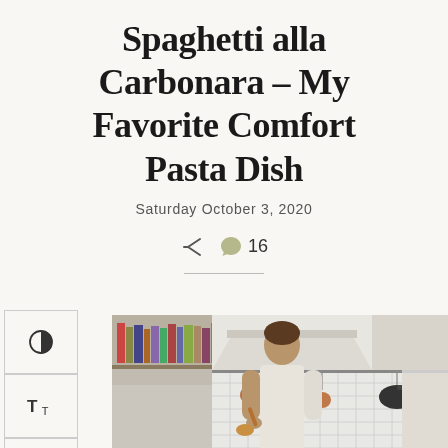Spaghetti alla Carbonara – My Favorite Comfort Pasta Dish
Saturday October 3, 2020
16
[Figure (photo): Woman cooking in a white kitchen with brick backsplash, hanging copper and black pots, and a white range hood. Bookshelves with cookbooks visible in background.]